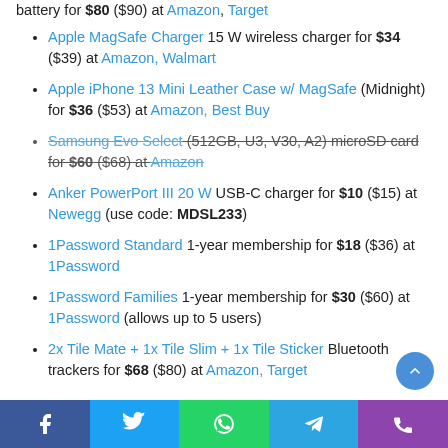battery for $80 ($90) at Amazon, Target
Apple MagSafe Charger 15 W wireless charger for $34 ($39) at Amazon, Walmart
Apple iPhone 13 Mini Leather Case w/ MagSafe (Midnight) for $36 ($53) at Amazon, Best Buy
Samsung Evo Select (512GB, U3, V30, A2) microSD card for $60 ($68) at Amazon [strikethrough]
Anker PowerPort III 20 W USB-C charger for $10 ($15) at Newegg (use code: MDSL233)
1Password Standard 1-year membership for $18 ($36) at 1Password
1Password Families 1-year membership for $30 ($60) at 1Password (allows up to 5 users)
2x Tile Mate + 1x Tile Slim + 1x Tile Sticker Bluetooth trackers for $68 ($80) at Amazon, Target
Facebook | Twitter | WhatsApp | Telegram | Phone